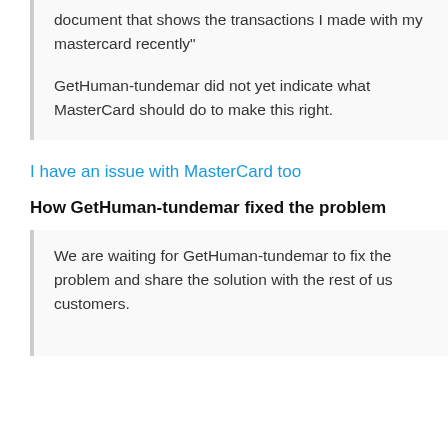document that shows the transactions I made with my mastercard recently"
GetHuman-tundemar did not yet indicate what MasterCard should do to make this right.
I have an issue with MasterCard too
How GetHuman-tundemar fixed the problem
We are waiting for GetHuman-tundemar to fix the problem and share the solution with the rest of us customers.